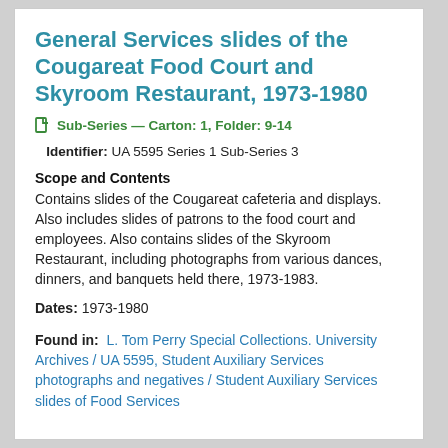General Services slides of the Cougareat Food Court and Skyroom Restaurant, 1973-1980
Sub-Series — Carton: 1, Folder: 9-14
Identifier: UA 5595 Series 1 Sub-Series 3
Scope and Contents
Contains slides of the Cougareat cafeteria and displays. Also includes slides of patrons to the food court and employees. Also contains slides of the Skyroom Restaurant, including photographs from various dances, dinners, and banquets held there, 1973-1983.
Dates: 1973-1980
Found in: L. Tom Perry Special Collections. University Archives / UA 5595, Student Auxiliary Services photographs and negatives / Student Auxiliary Services slides of Food Services